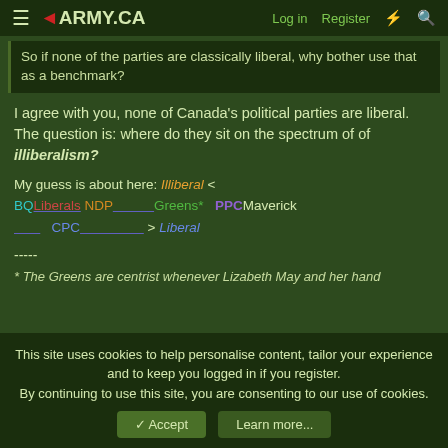ARMY.CA - Log in - Register
So if none of the parties are classically liberal, why bother use that as a benchmark?
I agree with you, none of Canada's political parties are liberal. The question is: where do they sit on the spectrum of of illiberalism?
My guess is about here: Illiberal < BQ Liberals NDP ___________ Greens* PPC Maverick _______CPC___________________ > Liberal
-----
* The Greens are centrist whenever Lizabeth May and her hand
This site uses cookies to help personalise content, tailor your experience and to keep you logged in if you register. By continuing to use this site, you are consenting to our use of cookies.